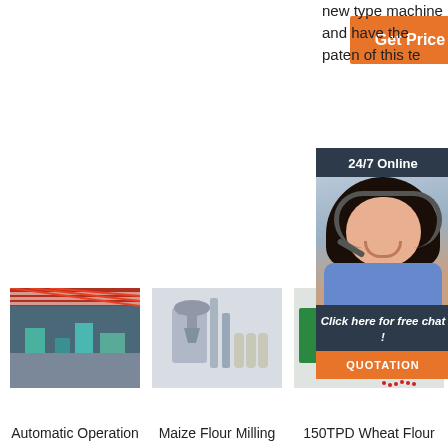[Figure (other): Orange 'Get Price' button]
new type machine and have the paten of this te
[Figure (other): 24/7 Online chat popup with woman wearing headset, 'Click here for free chat!' text and QUOTATION button]
[Figure (photo): Automatic Operation factory floor with red/white roof structure and machinery]
Automatic Operation
[Figure (photo): Maize Flour Milling machine system with silos and filter bags]
Maize Flour Milling
[Figure (photo): 150TPD Wheat Flour milling equipment in green/red with TOP badge]
150TPD Wheat Flour